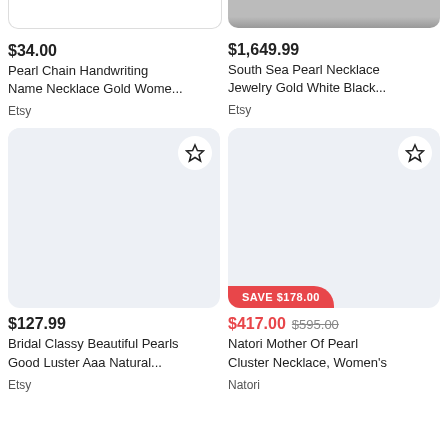[Figure (screenshot): Top-left product: partial product image (white background, truncated at top)]
$34.00
Pearl Chain Handwriting Name Necklace Gold Wome...
Etsy
[Figure (photo): Top-right product: partial product image showing a woman wearing a black pearl necklace (grayscale, truncated at top)]
$1,649.99
South Sea Pearl Necklace Jewelry Gold White Black...
Etsy
[Figure (photo): Bottom-left product card: light gray placeholder image with star/favorite button in top-right corner]
$127.99
Bridal Classy Beautiful Pearls Good Luster Aaa Natural...
Etsy
[Figure (photo): Bottom-right product card: light gray placeholder image with star/favorite button in top-right corner and SAVE $178.00 badge]
$417.00  $595.00
Natori Mother Of Pearl Cluster Necklace, Women's
Natori